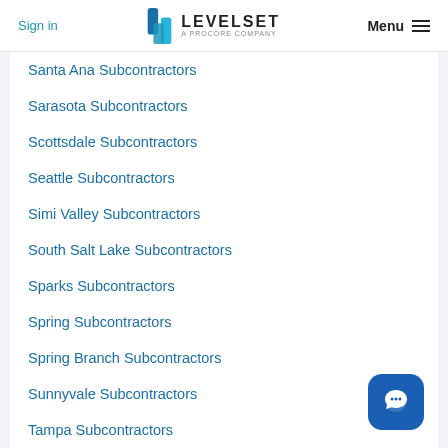Sign in | LEVELSET A PROCORE COMPANY | Menu
Santa Ana Subcontractors
Sarasota Subcontractors
Scottsdale Subcontractors
Seattle Subcontractors
Simi Valley Subcontractors
South Salt Lake Subcontractors
Sparks Subcontractors
Spring Subcontractors
Spring Branch Subcontractors
Sunnyvale Subcontractors
Tampa Subcontractors